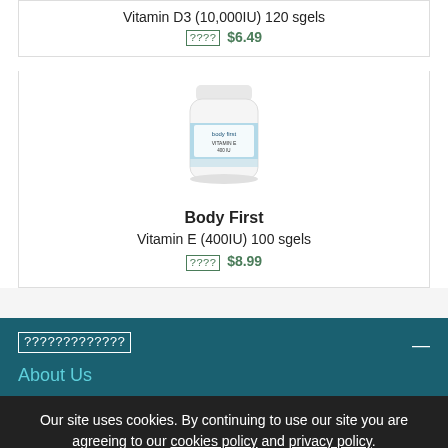Vitamin D3 (10,000IU) 120 sgels
???? $6.49
[Figure (photo): Product photo of Body First Vitamin E supplement bottle]
Body First
Vitamin E (400IU) 100 sgels
???? $8.99
????????????? —
About Us
Our site uses cookies. By continuing to use our site you are agreeing to our cookies policy and privacy policy.
Accept and Close